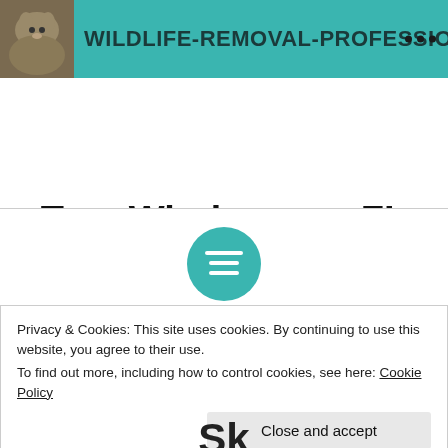WILDLIFE-REMOVAL-PROFESSIONALS-AN...
Tag: Windermore FL
[Figure (other): Teal circular icon with horizontal lines (hamburger/menu style)]
Privacy & Cookies: This site uses cookies. By continuing to use this website, you agree to their use.
To find out more, including how to control cookies, see here: Cookie Policy
Close and accept
Sk...